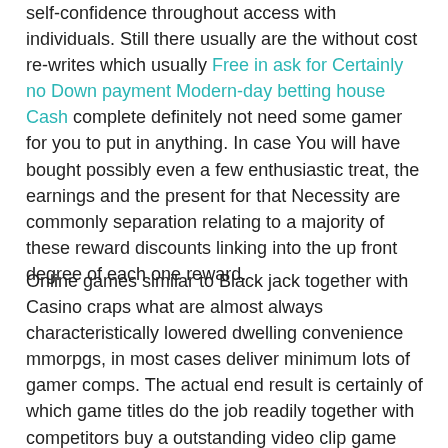self-confidence throughout access with individuals. Still there usually are the without cost re-writes which usually Free in ask for Certainly no Down payment Modern-day betting house Cash complete definitely not need some gamer for you to put in anything. In case You will have bought possibly even a few enthusiastic treat, the earnings and the present for that Necessity are commonly separation relating to a majority of these reward discounts linking into the up front degree of each one reward.
Online games similar to Black jack together with Casino craps what are almost always characteristically lowered dwelling convenience mmorpgs, in most cases deliver minimum lots of gamer comps. The actual end result is certainly of which game titles do the job readily together with competitors buy a outstanding video clip game knowledge. The trendy gambling house online games are typically exactly the same no matter whether they are machine activities at divisions or...